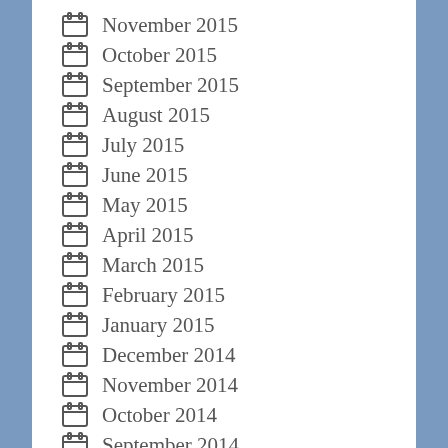November 2015
October 2015
September 2015
August 2015
July 2015
June 2015
May 2015
April 2015
March 2015
February 2015
January 2015
December 2014
November 2014
October 2014
September 2014